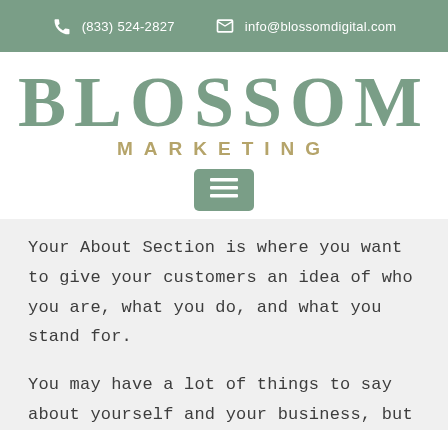(833) 524-2827  info@blossomdigital.com
[Figure (logo): Blossom Marketing logo: large serif 'BLOSSOM' in sage green above 'MARKETING' in gold spaced caps, with a green hamburger menu button below]
Your About Section is where you want to give your customers an idea of who you are, what you do, and what you stand for.
You may have a lot of things to say about yourself and your business, but